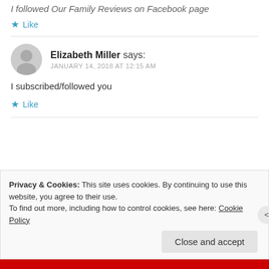I followed Our Family Reviews on Facebook page
★ Like
Elizabeth Miller says:
JANUARY 14, 2018 AT 12:15 AM
I subscribed/followed you
★ Like
Privacy & Cookies: This site uses cookies. By continuing to use this website, you agree to their use.
To find out more, including how to control cookies, see here: Cookie Policy
Close and accept